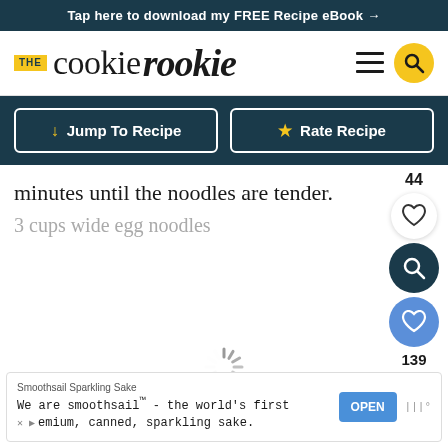Tap here to download my FREE Recipe eBook →
[Figure (logo): The Cookie Rookie logo with yellow THE badge, serif cookie text, and italic rookie text]
↓ Jump To Recipe
★ Rate Recipe
minutes until the noodles are tender.
3 cups wide egg noodles
[Figure (screenshot): Loading spinner icon]
Smoothsail Sparkling Sake
We are smoothsail™ - the world's first premium, canned, sparkling sake.